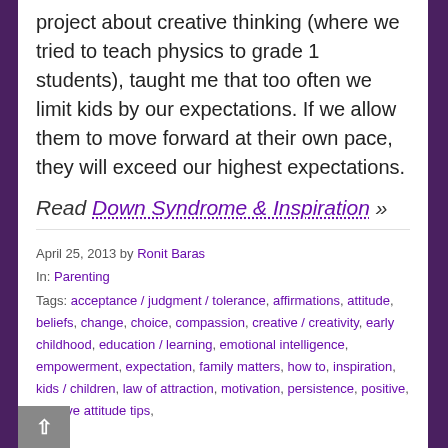project about creative thinking (where we tried to teach physics to grade 1 students), taught me that too often we limit kids by our expectations. If we allow them to move forward at their own pace, they will exceed our highest expectations.
Read Down Syndrome & Inspiration »
April 25, 2013 by Ronit Baras
In: Parenting
Tags: acceptance / judgment / tolerance, affirmations, attitude, beliefs, change, choice, compassion, creative / creativity, early childhood, education / learning, emotional intelligence, empowerment, expectation, family matters, how to, inspiration, kids / children, law of attraction, motivation, persistence, positive, positive attitude tips,